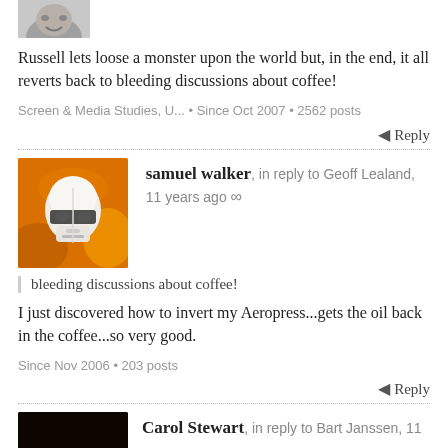[Figure (photo): Partial avatar image of a person at the top of the page]
Russell lets loose a monster upon the world but, in the end, it all reverts back to bleeding discussions about coffee!
Screen & Media Studies, U... • Since Oct 2007 • 2562 posts
Reply
[Figure (photo): Samuel Walker avatar - stormtrooper helmet on orange fiery background]
samuel walker, in reply to Geoff Lealand, 11 years ago ∞
bleeding discussions about coffee!
I just discovered how to invert my Aeropress...gets the oil back in the coffee...so very good.
Since Nov 2006 • 203 posts
Reply
[Figure (photo): Carol Stewart avatar - volcanic eruption on dark background]
Carol Stewart, in reply to Bart Janssen, 11 years ago ∞